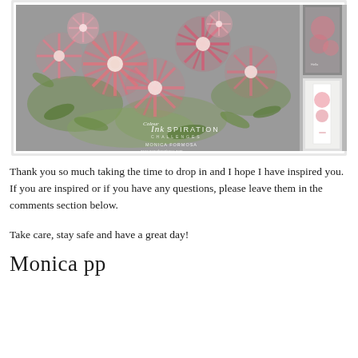[Figure (photo): A collage of floral card artwork featuring pink/coral chrysanthemum flowers with green foliage on a grey background. Left panel is a large portrait image of flowers, right panel has two smaller card images stacked. Text overlay reads 'COLOUR Inkspiration CHALLENGES MONICA FORMOSA www.paperhappiness.com']
Thank you so much taking the time to drop in and I hope I have inspired you.  If you are inspired or if you have any questions, please leave them in the comments section below.
Take care, stay safe and have a great day!
Monica pp